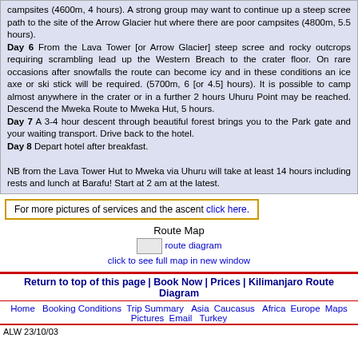campsites (4600m, 4 hours). A strong group may want to continue up a steep scree path to the site of the Arrow Glacier hut where there are poor campsites (4800m, 5.5 hours). Day 6 From the Lava Tower [or Arrow Glacier] steep scree and rocky outcrops requiring scrambling lead up the Western Breach to the crater floor. On rare occasions after snowfalls the route can become icy and in these conditions an ice axe or ski stick will be required. (5700m, 6 [or 4.5] hours). It is possible to camp almost anywhere in the crater or in a further 2 hours Uhuru Point may be reached. Descend the Mweka Route to Mweka Hut, 5 hours. Day 7 A 3-4 hour descent through beautiful forest brings you to the Park gate and your waiting transport. Drive back to the hotel. Day 8 Depart hotel after breakfast. NB from the Lava Tower Hut to Mweka via Uhuru will take at least 14 hours including rests and lunch at Barafu! Start at 2 am at the latest.
For more pictures of services and the ascent click here.
Route Map
[Figure (other): route diagram image with link to full map in new window]
Return to top of this page | Book Now | Prices | Kilimanjaro Route Diagram
Home  Booking Conditions  Trip Summary  Asia  Caucasus  Africa  Europe  Maps  Pictures  Email  Turkey
ALW 23/10/03